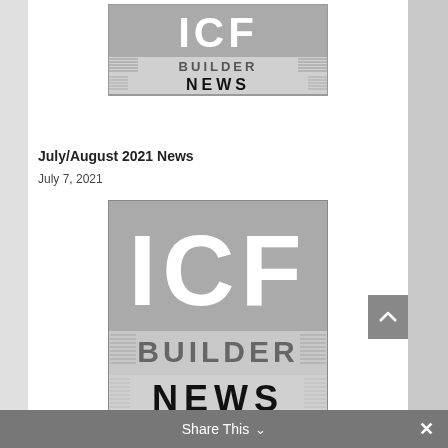[Figure (logo): ICF Builder News logo at top of page, smaller version]
July/August 2021 News
July 7, 2021
[Figure (logo): ICF Builder News logo, larger version in article body]
Share This ∨  ×